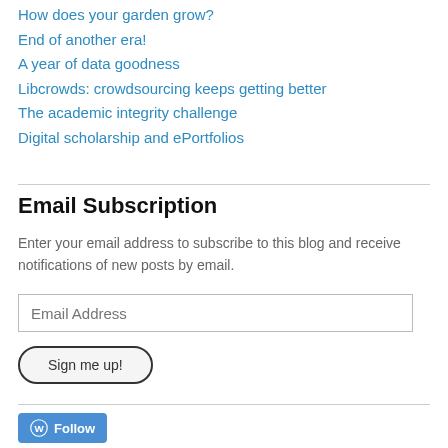How does your garden grow?
End of another era!
A year of data goodness
Libcrowds: crowdsourcing keeps getting better
The academic integrity challenge
Digital scholarship and ePortfolios
Email Subscription
Enter your email address to subscribe to this blog and receive notifications of new posts by email.
Email Address
Sign me up!
Follow